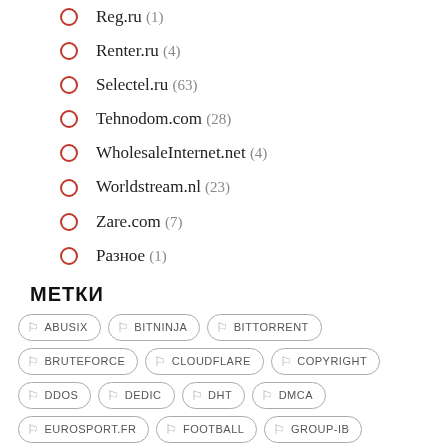Reg.ru (1)
Renter.ru (4)
Selectel.ru (63)
Tehnodom.com (28)
WholesaleInternet.net (4)
Worldstream.nl (23)
Zare.com (7)
Разное (1)
МЕТКИ
ABUSIX BITNINJA BITTORRENT BRUTEFORCE CLOUDFLARE COPYRIGHT DDOS DEDIC DHT DMCA EUROSPORT.FR FOOTBALL GROUP-IB HERVÉ LEMAIRE LEAKID MALWARE